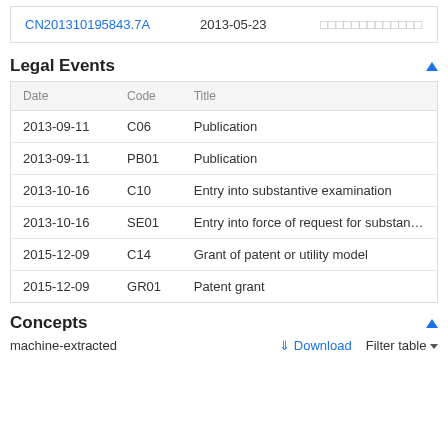|  |  |  |
| --- | --- | --- |
| CN201310195843.7A | 2013-05-23 | □□□□□□□□□□□□□ |
Legal Events
| Date | Code | Title |
| --- | --- | --- |
| 2013-09-11 | C06 | Publication |
| 2013-09-11 | PB01 | Publication |
| 2013-10-16 | C10 | Entry into substantive examination |
| 2013-10-16 | SE01 | Entry into force of request for substantive exa |
| 2015-12-09 | C14 | Grant of patent or utility model |
| 2015-12-09 | GR01 | Patent grant |
Concepts
machine-extracted
Download   Filter table